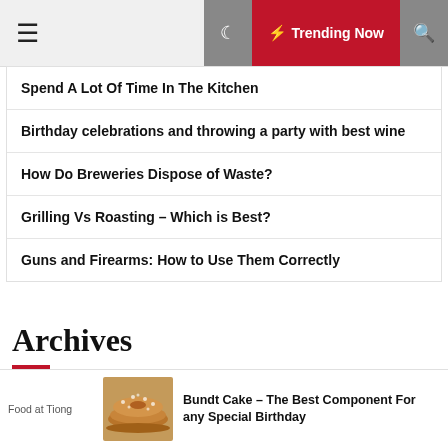≡ Trending Now
Spend A Lot Of Time In The Kitchen
Birthday celebrations and throwing a party with best wine
How Do Breweries Dispose of Waste?
Grilling Vs Roasting – Which is Best?
Guns and Firearms: How to Use Them Correctly
Archives
Food at Tiong
[Figure (photo): Bundt cake with powdered sugar]
Bundt Cake – The Best Component For any Special Birthday